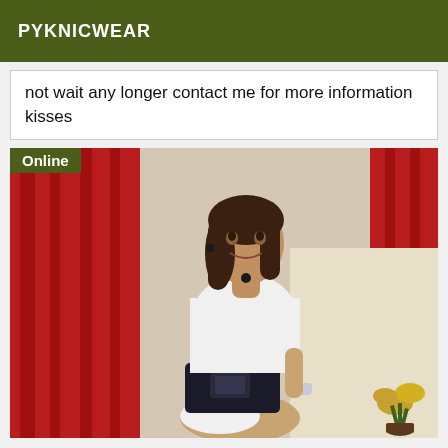PYKNICWEAR
not wait any longer contact me for more information kisses
[Figure (photo): A woman wearing a white top and black shorts posing in front of a red curtain backdrop with a yellow flower plant in the background. An 'Online' badge is displayed in the top-left corner of the image.]